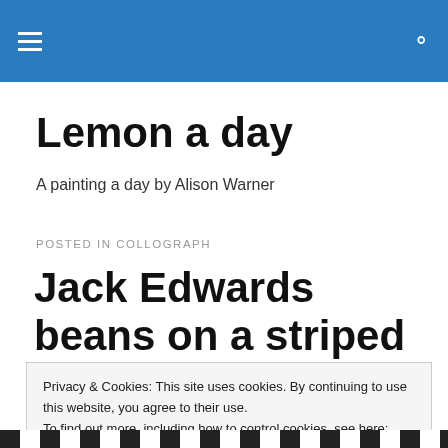Lemon a day — site header navigation bar
Lemon a day
A painting a day by Alison Warner
POSTED IN COLLOGRAPH
Jack Edwards beans on a striped plate-a painting a day
Privacy & Cookies: This site uses cookies. By continuing to use this website, you agree to their use.
To find out more, including how to control cookies, see here: Cookie Policy
Close and accept